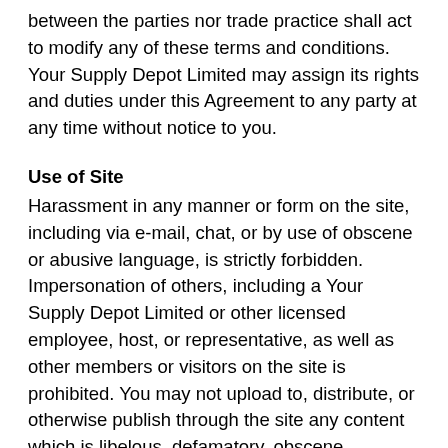between the parties nor trade practice shall act to modify any of these terms and conditions. Your Supply Depot Limited may assign its rights and duties under this Agreement to any party at any time without notice to you.
Use of Site
Harassment in any manner or form on the site, including via e-mail, chat, or by use of obscene or abusive language, is strictly forbidden. Impersonation of others, including a Your Supply Depot Limited or other licensed employee, host, or representative, as well as other members or visitors on the site is prohibited. You may not upload to, distribute, or otherwise publish through the site any content which is libelous, defamatory, obscene, threatening, invasive of privacy or publicity rights, abusive, illegal, or otherwise objectionable which may constitute or encourage a criminal offense, violate the rights of any party or which may otherwise give rise to liability or violate any law. You may not